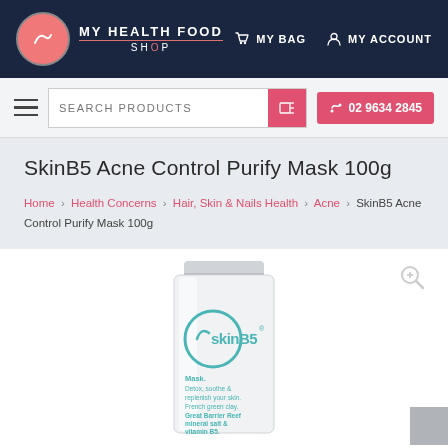MY HEALTH FOOD SHOP — MY BAG | MY ACCOUNT
SkinB5 Acne Control Purify Mask 100g
Home > Health Concerns > Hair, Skin & Nails Health > Acne > SkinB5 Acne Control Purify Mask 100g
[Figure (photo): SkinB5 Acne Control Purify Mask 100g product tube with teal SkinB5 logo and text reading: Mask. Detox, soothe & replenish your skin. French green clay. Great Barrier Reef mineral salt & vitamin B5. Australian made.]